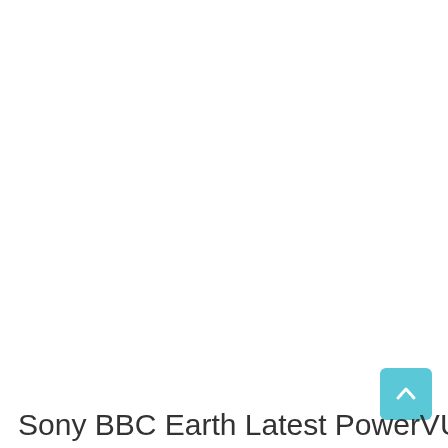Sony BBC Earth Latest PowerVU
[Figure (other): Scroll-to-top button with upward chevron arrow on light blue/cyan background, positioned bottom-right corner]